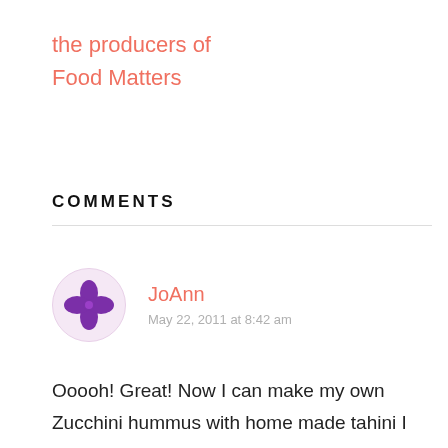the producers of
Food Matters
COMMENTS
[Figure (illustration): User avatar: circular avatar with purple flower/cross shape icon on light pink background]
JoAnn
May 22, 2011 at 8:42 am
Ooooh! Great! Now I can make my own Zucchini hummus with home made tahini I learned right here! It'll save me from having